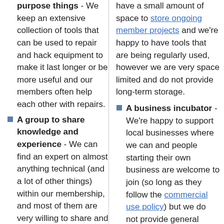purpose things - We keep an extensive collection of tools that can be used to repair and hack equipment to make it last longer or be more useful and our members often help each other with repairs.
A group to share knowledge and experience - We can find an expert on almost anything technical (and a lot of other things) within our membership, and most of them are very willing to share and teach
A way to learn and teach new skills - Our members provide
have a small amount of space to store ongoing member projects and we're happy to have tools that are being regularly used, however we are very space limited and do not provide long-term storage.
A business incubator - We're happy to support local businesses where we can and people starting their own business are welcome to join (so long as they follow the commercial use policy) but we do not provide general business support